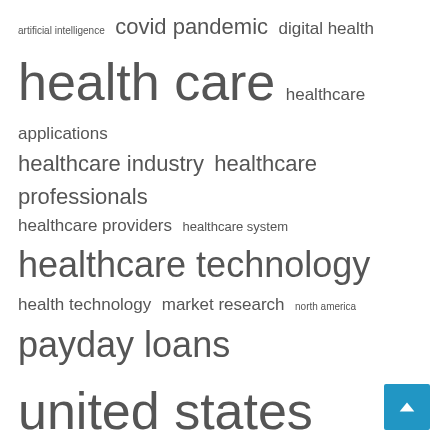artificial intelligence  covid pandemic  digital health  health care  healthcare applications  healthcare industry  healthcare professionals  healthcare providers  healthcare system  healthcare technology  health technology  market research  north america  payday loans  united states
Recent Posts
CFPB sues payday lender for allegedly concealing free repayment plans | PC Weiner Brodsky Kider
The Global Patient-Centric Healthcare Application Market is Expected to
Letters: Real estate transaction | For-profit rodeo
21 business ideas for nurses